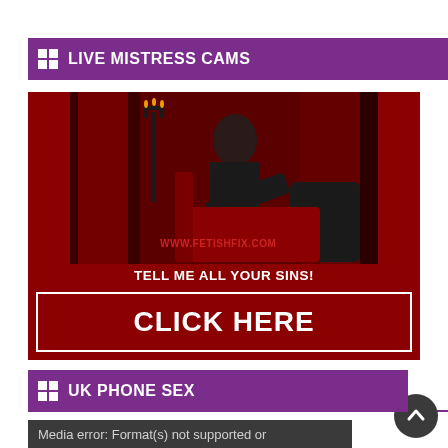LIVE MISTRESS CAMS
[Figure (photo): Advertisement banner featuring a woman dressed in black leather sitting on a red chair in a dark red draped room with candelabra. Watermark: WWW.FETISHFIX.COM. Text overlay: TELL ME ALL YOUR SINS! and CLICK HERE button.]
UK PHONE SEX
Media error: Format(s) not supported or